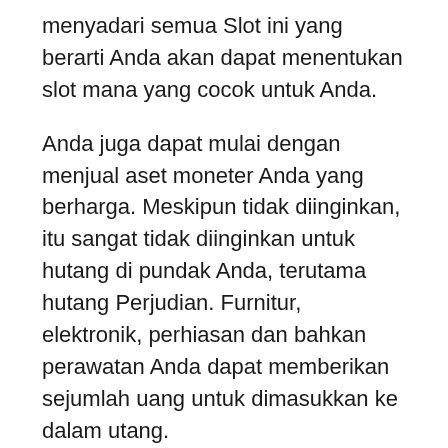menyadari semua Slot ini yang berarti Anda akan dapat menentukan slot mana yang cocok untuk Anda.
Anda juga dapat mulai dengan menjual aset moneter Anda yang berharga. Meskipun tidak diinginkan, itu sangat tidak diinginkan untuk hutang di pundak Anda, terutama hutang Perjudian. Furnitur, elektronik, perhiasan dan bahkan perawatan Anda dapat memberikan sejumlah uang untuk dimasukkan ke dalam utang.
Masalah ini (s) benar-benar dapat slot online pragmatic play menjadi semua mencakup dapat mempengaruhi hidup dengan cara yang berbeda. Jika Anda tidak berhenti berjudi ketika